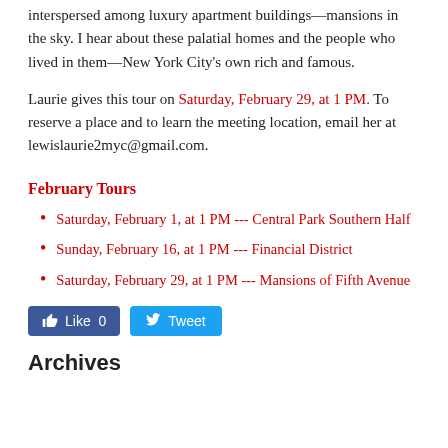interspersed among luxury apartment buildings—mansions in the sky. I hear about these palatial homes and the people who lived in them—New York City's own rich and famous.
Laurie gives this tour on Saturday, February 29, at 1 PM. To reserve a place and to learn the meeting location, email her at lewislaurie2myc@gmail.com.
February Tours
Saturday, February 1, at 1 PM --- Central Park Southern Half
Sunday, February 16, at 1 PM --- Financial District
Saturday, February 29, at 1 PM --- Mansions of Fifth Avenue
Archives